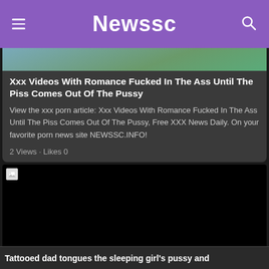Newssc
[Figure (photo): Partial thumbnail image visible at top of first article card]
Xxx Videos With Romance Fucked In The Ass Until The Piss Comes Out Of The Pussy
View the xxx porn article: Xxx Videos With Romance Fucked In The Ass Until The Piss Comes Out Of The Pussy, Free XXX News Daily. On your favorite porn news site NEWSSC.INFO!
2 Views · Likes 0
[Figure (photo): Black image with broken image icon in top left corner, second article thumbnail]
Tattooed dad tongues the sleeping girl's pussy and